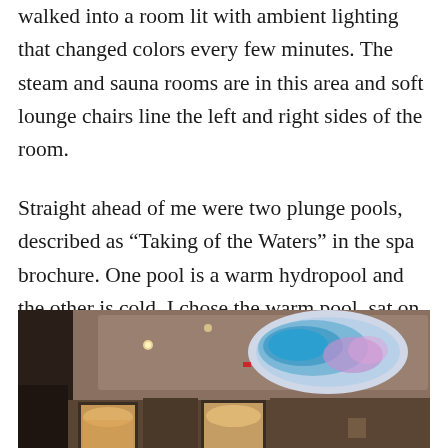walked into a room lit with ambient lighting that changed colors every few minutes. The steam and sauna rooms are in this area and soft lounge chairs line the left and right sides of the room.
Straight ahead of me were two plunge pools, described as “Taking of the Waters” in the spa brochure. One pool is a warm hydropool and the other is cold. I chose the warm pool, sat on the ledge nearest to one of the two waterfall features, and literally soaked in the moment.
[Figure (photo): Interior photo of a spa room showing a ceiling with an oval-shaped ambient lighting fixture glowing in blue and purple hues, recessed lighting, and decorative arched doorways with warm lighting.]